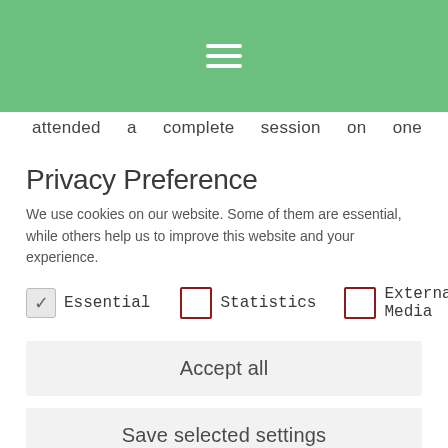[Figure (other): Green navigation header bar with hamburger menu icon (three white horizontal lines)]
attended a complete session on one topic receiv
Privacy Preference
We use cookies on our website. Some of them are essential, while others help us to improve this website and your experience.
Essential   Statistics   External Media
Accept all
Save selected settings
Deny
Cookie Details | Privacy Policy | Imprint